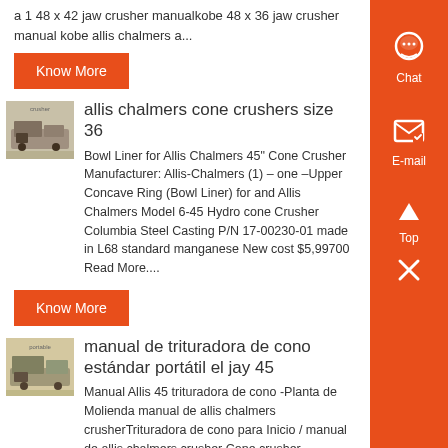a 1 48 x 42 jaw crusher manualkobe 48 x 36 jaw crusher manual kobe allis chalmers a...
Know More
[Figure (photo): Thumbnail image of a crusher/mining machine in a field]
allis chalmers cone crushers size 36
Bowl Liner for Allis Chalmers 45" Cone Crusher Manufacturer: Allis-Chalmers (1) – one –Upper Concave Ring (Bowl Liner) for and Allis Chalmers Model 6-45 Hydro cone Crusher Columbia Steel Casting P/N 17-00230-01 made in L68 standard manganese New cost $5,99700 Read More....
Know More
[Figure (photo): Thumbnail image of a portable cone crusher machine]
manual de trituradora de cono estándar portátil el jay 45
Manual Allis 45 trituradora de cono -Planta de Molienda manual de allis chalmers crusherTrituradora de cono para Inicio / manual de allis chalmers crusher Cone crusher illustrations and technical information Ilustraciones de las trituradoras del cono estándar y shorthead y cómo las The Allis Chalmers cone crusher was the first to ...
Know More